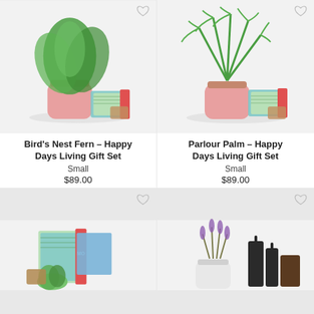[Figure (photo): Bird's Nest Fern plant in a pink pot with gift set accessories including patterned books/notebooks on a white background]
Bird's Nest Fern – Happy Days Living Gift Set
Small
$89.00
[Figure (photo): Parlour Palm plant in a pink pot with gift set accessories including patterned books/notebooks on a white background]
Parlour Palm – Happy Days Living Gift Set
Small
$89.00
[Figure (photo): Succulent plant with gift set accessories including green patterned notebooks and red items on white background]
[Figure (photo): Lavender plant in white pot with dark skincare/beauty product bottles on white background]